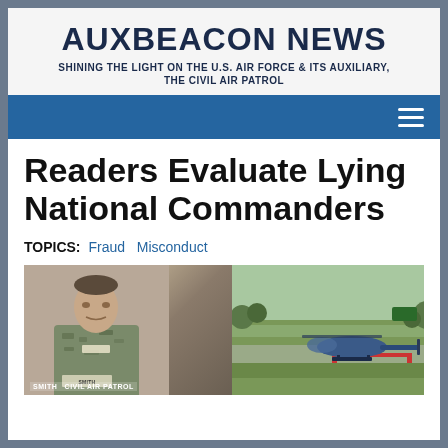AUXBEACON NEWS
SHINING THE LIGHT ON THE U.S. AIR FORCE & ITS AUXILIARY, THE CIVIL AIR PATROL
Readers Evaluate Lying National Commanders
TOPICS: Fraud Misconduct
[Figure (photo): Left half: a man in military camouflage uniform (Civil Air Patrol) with name tag reading SMITH, CIVIL AIR PATROL. Right half: aerial photo of a small aircraft (helicopter/glider) on a grass area near a road.]